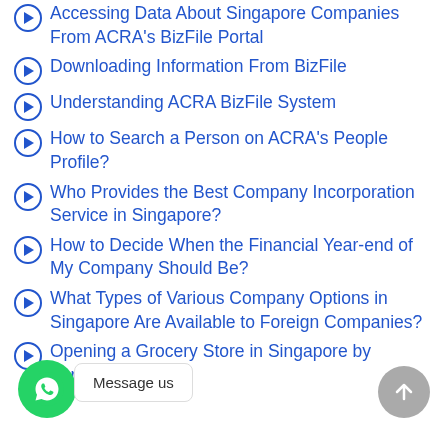Accessing Data About Singapore Companies From ACRA's BizFile Portal
Downloading Information From BizFile
Understanding ACRA BizFile System
How to Search a Person on ACRA's People Profile?
Who Provides the Best Company Incorporation Service in Singapore?
How to Decide When the Financial Year-end of My Company Should Be?
What Types of Various Company Options in Singapore Are Available to Foreign Companies?
Opening a Grocery Store in Singapore by Foreigner